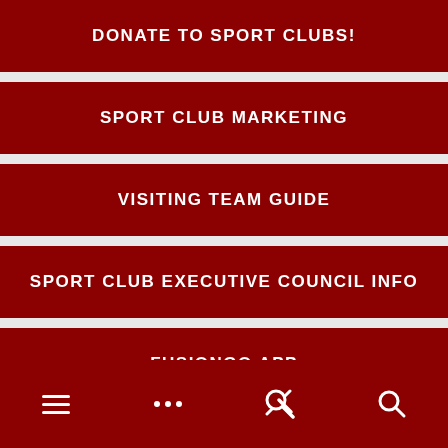DONATE TO SPORT CLUBS!
SPORT CLUB MARKETING
VISITING TEAM GUIDE
SPORT CLUB EXECUTIVE COUNCIL INFO
FUSIONGO APP
HAVE A QUESTION?
≡  ...  🔧  🔍